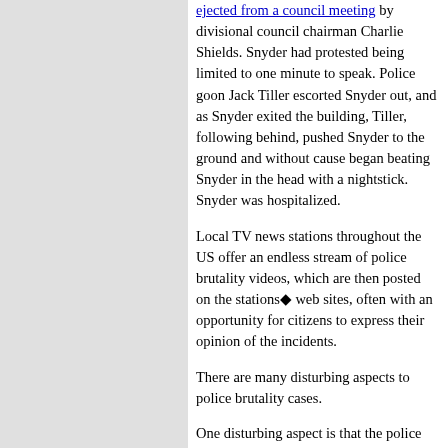ejected from a council meeting by divisional council chairman Charlie Shields. Snyder had protested being limited to one minute to speak. Police goon Jack Tiller escorted Snyder out, and as Snyder exited the building, Tiller, following behind, pushed Snyder to the ground and without cause began beating Snyder in the head with a nightstick. Snyder was hospitalized.
Local TV news stations throughout the US offer an endless stream of police brutality videos, which are then posted on the stations' web sites, often with an opportunity for citizens to express their opinion of the incidents.
There are many disturbing aspects to police brutality cases.
One disturbing aspect is that the police always arrest the people that they have gratuitously brutalized. There was no justification whatsoever to arrest Councilman Snyder, or the UCLA student, or the University of Florida student. The cops committed assault against innocent citizens. The cops should have been arrested for their criminal acts. Instead, the cops cover up their own crimes by arresting their victims on false charges that are invented to justify the unprovoked police violence against citizens.